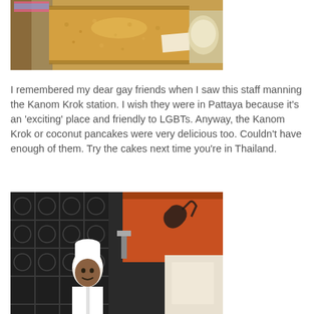[Figure (photo): Close-up photo of Kanom Krok (coconut pancakes) cooking station with golden fried rice or pancake batter in a tray, and what appears to be a bowl with egg or batter on the right side.]
I remembered my dear gay friends when I saw this staff manning the Kanom Krok station. I wish they were in Pattaya because it's an 'exciting' place and friendly to LGBTs. Anyway, the Kanom Krok or coconut pancakes were very delicious too. Couldn't have enough of them. Try the cakes next time you're in Thailand.
[Figure (photo): Photo of a male chef wearing a white chef's hat standing in a restaurant kitchen/buffet area with decorative dark metal panels in the background and orange/red cabinetry.]